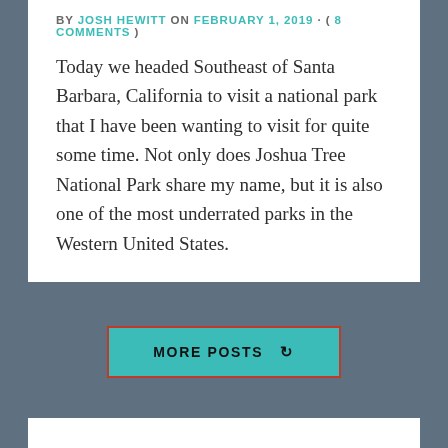BY JOSH HEWITT ON FEBRUARY 1, 2019 · ( 8 COMMENTS )
Today we headed Southeast of Santa Barbara, California to visit a national park that I have been wanting to visit for quite some time. Not only does Joshua Tree National Park share my name, but it is also one of the most underrated parks in the Western United States.
MORE POSTS